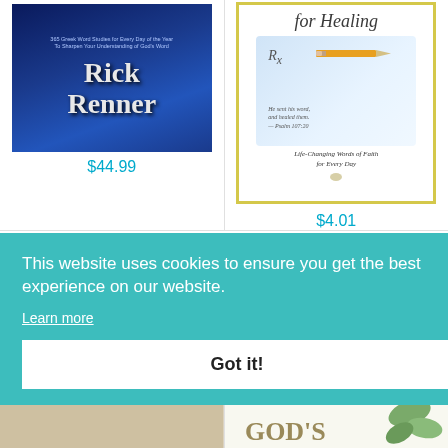[Figure (photo): Book cover: Rick Renner, blue background with author name in large white serif font, subtitle '365 Greek Word Studies for Every Day of the Year To Sharpen Your Understanding of God's Word']
$44.99
[Figure (photo): Book cover: 'for Healing' title in italic script at top, prescription pad with pencil, scripture quote 'He sent his word and healed them - Psalm 107:20', subtitle 'Life-Changing Words of Faith for Every Day', yellow border]
$4.01
This website uses cookies to ensure you get the best experience on our website.
Learn more
Got it!
r Gift
[Figure (photo): Partial view of a book cover showing green leaf/plant illustration and text "GOD'S" in large letters]